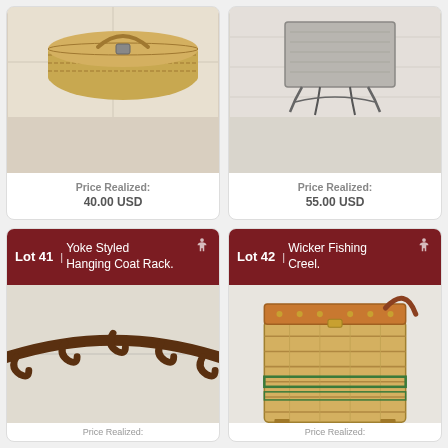[Figure (photo): Wicker basket on light floor, top-left card]
Price Realized: 40.00 USD
[Figure (photo): Ornate metal side table with wooden top on light wood floor, top-right card]
Price Realized: 55.00 USD
Lot 41 | Yoke Styled Hanging Coat Rack.
[Figure (photo): Rustic wooden yoke-style hanging coat rack with multiple hooks]
Lot 42 | Wicker Fishing Creel.
[Figure (photo): Wicker fishing creel with leather top and green stripe accents]